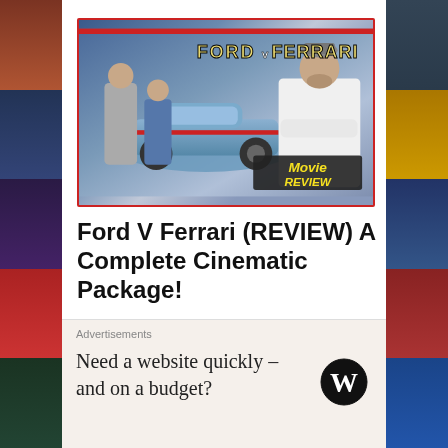[Figure (photo): Ford V Ferrari movie review thumbnail showing two actors with a race car and a reviewer beside text 'FORD v FERRARI' and a 'Movie Review' badge]
Ford V Ferrari (REVIEW) A Complete Cinematic Package!
American car designer Carroll Shelby and driver Ken Miles battle corporate interference, the laws of physics and their own personal demons to build a revolutionary race car for Ford and challenge Ferrari at the 24 Hours of Le Mans in 1966.
Advertisements
Need a website quickly – and on a budget?